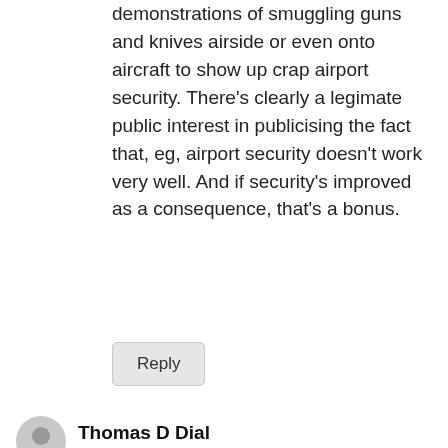demonstrations of smuggling guns and knives airside or even onto aircraft to show up crap airport security. There's clearly a legimate public interest in publicising the fact that, eg, airport security doesn't work very well. And if security's improved as a consequence, that's a bonus.
Reply
Thomas D Dial
May 11, 2017 at 6:05 pm
The exercise results are decidedly mixed. From the article: "Fortunately, no-one went so far as to hand over their login credentials." So none of the targets actually fell for the phish, contrary to the headline and lead paragraph. That is good news. It is, on the other hand, bad news if anyone followed the link from other than an isolated